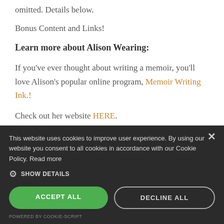omitted. Details below.
Bonus Content and Links!
Learn more about Alison Wearing:
If you've ever thought about writing a memoir, you'll love Alison's popular online program, Memoir Writing Ink.!
Check out her website HERE.
W... (partial heading cut off)
This website uses cookies to improve user experience. By using our website you consent to all cookies in accordance with our Cookie Policy. Read more
SHOW DETAILS
ACCEPT ALL
DECLINE ALL
POWERED BY COOKIE-SCRIPT